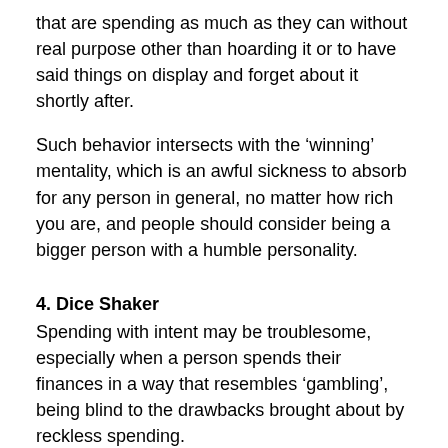that are spending as much as they can without real purpose other than hoarding it or to have said things on display and forget about it shortly after.
Such behavior intersects with the ‘winning’ mentality, which is an awful sickness to absorb for any person in general, no matter how rich you are, and people should consider being a bigger person with a humble personality.
4. Dice Shaker
Spending with intent may be troublesome, especially when a person spends their finances in a way that resembles ‘gambling’, being blind to the drawbacks brought about by reckless spending.
Such instances would be like spending away without a proper goal or at least a tradeoff from spending, like if you’re out to